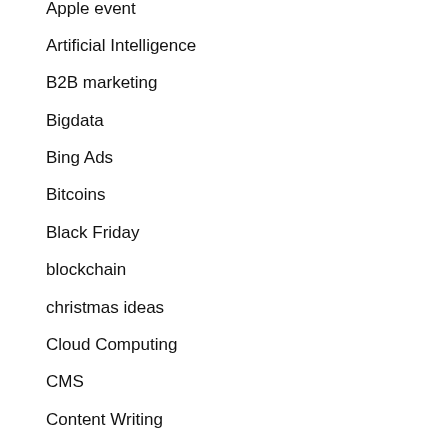Apple event
Artificial Intelligence
B2B marketing
Bigdata
Bing Ads
Bitcoins
Black Friday
blockchain
christmas ideas
Cloud Computing
CMS
Content Writing
CRM
CRO
Data Science